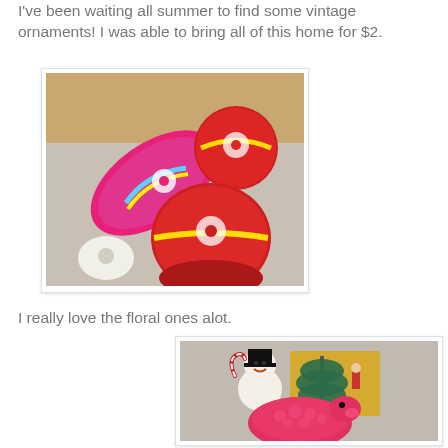I've been waiting all summer to find some vintage ornaments! I was able to bring all of this home for $2.
[Figure (photo): Box of vintage Christmas ornaments including pink and red floral globes, a teardrop-shaped pink ornament, and a small white novelty ornament, all with daisy/floral patterns]
I really love the floral ones alot.
[Figure (photo): Vintage Christmas ornaments including a white snowman figurine holding a candy cane, a pink textured animal ornament, and a dark blue bottlebrush tree on a gold background]